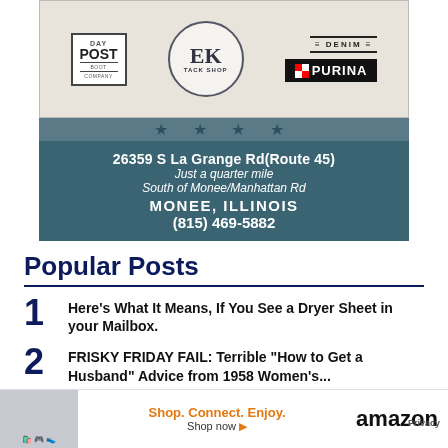[Figure (illustration): Advertisement for a tack shop/boot company featuring Day Post Boot Company, EK Tack Shop, Denim brand, and Purina logos on a barn-wood style background]
26359 S La Grange Rd(Route 45) Just a quarter mile South of Monee/Manhattan Rd MONEE, ILLINOIS (815) 469-5882
Popular Posts
1 Here's What It Means, If You See a Dryer Sheet in your Mailbox.
2 FRISKY FRIDAY FAIL: Terrible "How to Get a Husband" Advice from 1958 Women's...
3 WORK SMARTER NOT HARDER: 5 Weekend... eek
[Figure (illustration): Amazon advertisement banner: Shop. Connect. Enjoy. Shop now with arrow. Amazon logo. Privacy text.]